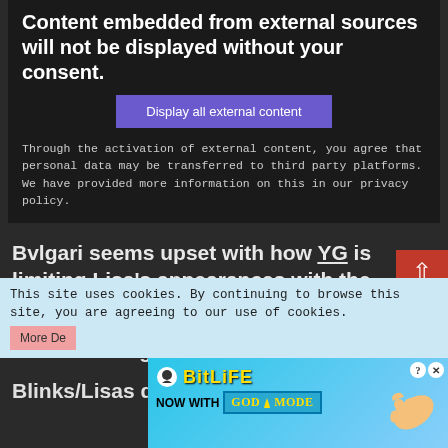Content embedded from external sources will not be displayed without your consent.
Display all external content
Through the activation of external content, you agree that personal data may be transferred to third party platforms. We have provided more information on this in our privacy policy.
Bvlgari seems upset with how YG is limiting Lisa's appearances with the Brand Bvlgari.
Embarrassing company.
Blinks/Lisas demanding an explanation
This site uses cookies. By continuing to browse this site, you are agreeing to our use of cookies.
[Figure (screenshot): BitLife advertisement banner with GOD MODE text and pointing hand illustration]